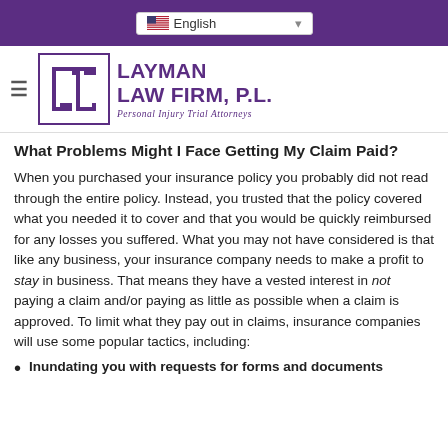English (language selector)
[Figure (logo): Layman Law Firm, P.L. logo with stylized 'IL' letters in purple box, Personal Injury Trial Attorneys]
What Problems Might I Face Getting My Claim Paid?
When you purchased your insurance policy you probably did not read through the entire policy. Instead, you trusted that the policy covered what you needed it to cover and that you would be quickly reimbursed for any losses you suffered. What you may not have considered is that like any business, your insurance company needs to make a profit to stay in business. That means they have a vested interest in not paying a claim and/or paying as little as possible when a claim is approved. To limit what they pay out in claims, insurance companies will use some popular tactics, including:
Inundating you with requests for forms and documents